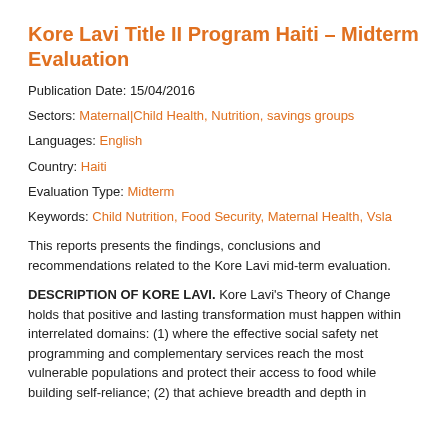Kore Lavi Title II Program Haiti – Midterm Evaluation
Publication Date: 15/04/2016
Sectors: Maternal|Child Health, Nutrition, savings groups
Languages: English
Country: Haiti
Evaluation Type: Midterm
Keywords: Child Nutrition, Food Security, Maternal Health, Vsla
This reports presents the findings, conclusions and recommendations related to the Kore Lavi mid-term evaluation.
DESCRIPTION OF KORE LAVI. Kore Lavi's Theory of Change holds that positive and lasting transformation must happen within interrelated domains: (1) where the effective social safety net programming and complementary services reach the most vulnerable populations and protect their access to food while building self-reliance; (2) that achieve breadth and depth in